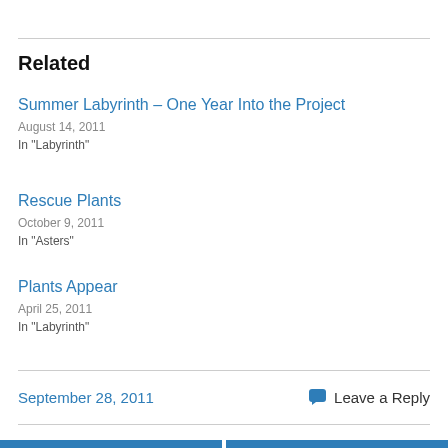Related
Summer Labyrinth – One Year Into the Project
August 14, 2011
In "Labyrinth"
Rescue Plants
October 9, 2011
In "Asters"
Plants Appear
April 25, 2011
In "Labyrinth"
September 28, 2011
Leave a Reply